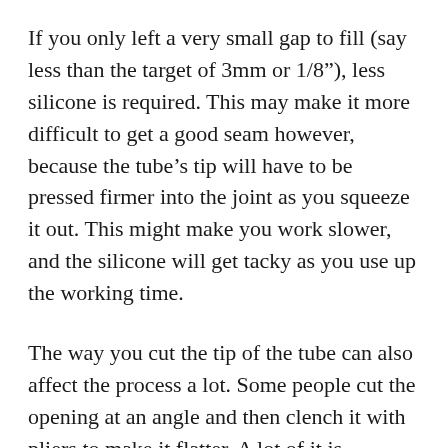If you only left a very small gap to fill (say less than the target of 3mm or 1/8"), less silicone is required. This may make it more difficult to get a good seam however, because the tube's tip will have to be pressed firmer into the joint as you squeeze it out. This might make you work slower, and the silicone will get tacky as you use up the working time.
The way you cut the tip of the tube can also affect the process a lot. Some people cut the opening at an angle and then clench it with pliers to make it flatter. A lot of it is personal preference.
If you are working with a panel that is close to another such as a bubble trap, then you'll only be able to apply the silicone from one side of the joint. In this case, you